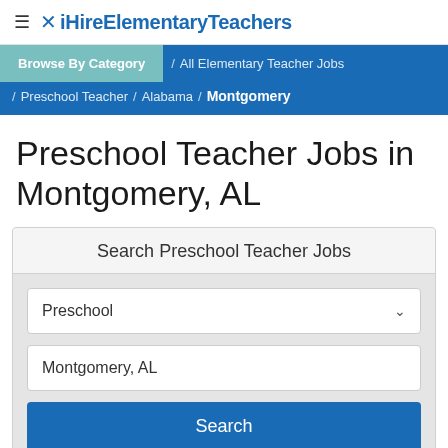≡ ✕ iHireElementaryTeachers
Browse By Category / All Elementary Teacher Jobs / Preschool Teacher / Alabama / Montgomery
Preschool Teacher Jobs in Montgomery, AL
Search Preschool Teacher Jobs
Preschool
Montgomery, AL
Search